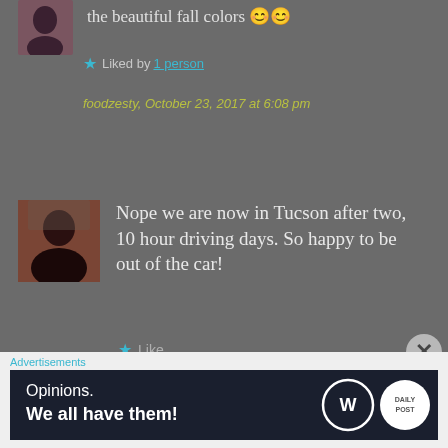the beautiful fall colors 😊😊
★ Liked by 1 person
foodzesty, October 23, 2017 at 6:08 pm
[Figure (photo): Profile photo of a woman with reddish hair]
Nope we are now in Tucson after two, 10 hour driving days. So happy to be out of the car!
★ Like
dtills, October 25, 2017 at 7:45 pm
Advertisements
[Figure (screenshot): Advertisement banner: Opinions. We all have them! with WordPress and Daily Post logos]